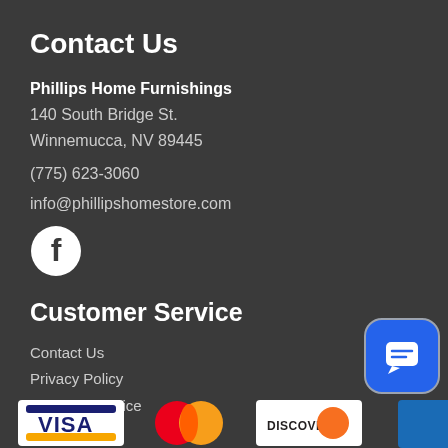Contact Us
Phillips Home Furnishings
140 South Bridge St.
Winnemucca, NV 89445

(775) 623-3060

info@phillipshomestore.com
[Figure (logo): Facebook icon - white circle with Facebook logo on dark background]
Customer Service
Contact Us
Privacy Policy
Terms of Service
Accessibility
Site Map
[Figure (logo): Payment method logos: Visa, Mastercard, Discover, and another card partially visible]
[Figure (other): Blue chat/messaging button widget in bottom right corner]